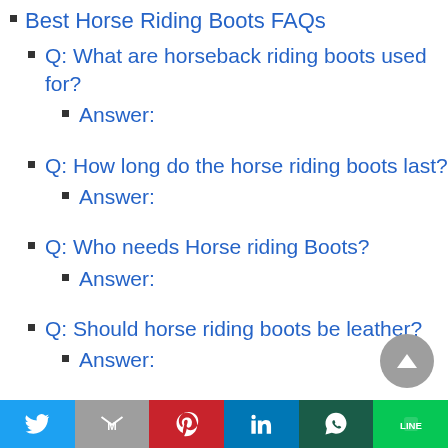Best Horse Riding Boots FAQs
Q: What are horseback riding boots used for?
Answer:
Q: How long do the horse riding boots last?
Answer:
Q: Who needs Horse riding Boots?
Answer:
Q: Should horse riding boots be leather?
Answer:
Q: Are there vegan horse riding boots?